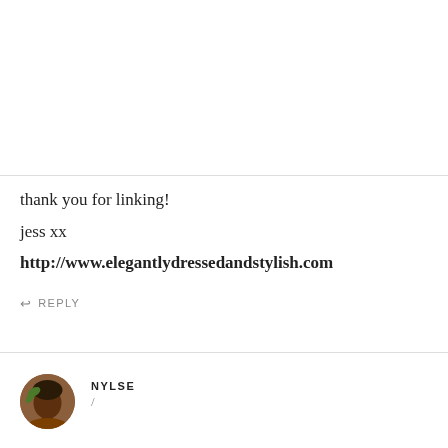thank you for linking!
jess xx
http://www.elegantlydressedandstylish.com
REPLY
NYLSE
/
I'm here from wowonwednesday linkup. I love the pajamas; I think that's what made me